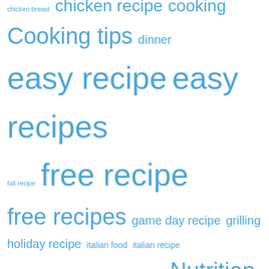[Figure (other): Tag cloud of food and recipe related terms in various sizes in blue, indicating relative frequency/importance. Terms include: chicken breast, chicken recipe, cooking, Cooking tips, dinner, easy recipe, easy recipes, fall recipe, free recipe, free recipes, game day recipe, grilling, holiday recipe, italian food, italian recipe, mexican food, mexican recipe, Nutrition, nutrition facts, one dish meal, one dish recipe, outdoor cooking, party recipe, pasta recipe, pork recipe, pot luck recipe, Products, quick recipe, recipe, recipes, Side Dish, simple recipe, Simple Recipes, slow cooker]